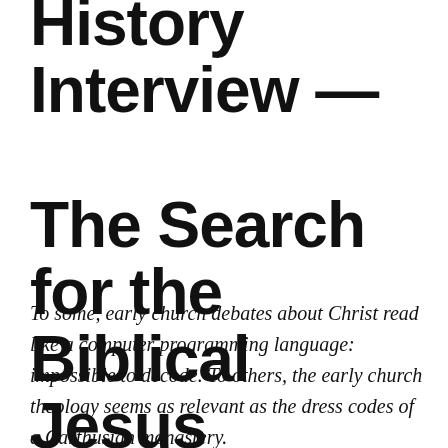History Interview — The Search for the Biblical Jesus
To some, early church debates about Christ read like a computer programming language: impossible to decode. To others, the early church theology seems as relevant as the dress codes of a Carthusian monastery.